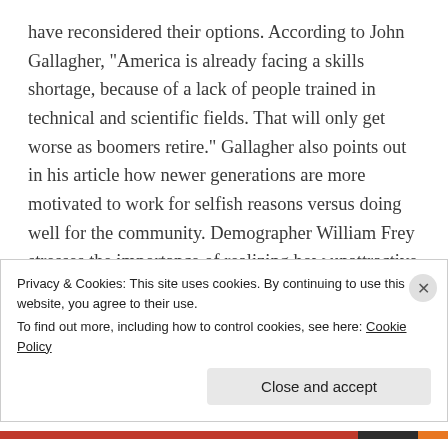have reconsidered their options. According to John Gallagher, “America is already facing a skills shortage, because of a lack of people trained in technical and scientific fields. That will only get worse as boomers retire.” Gallagher also points out in his article how newer generations are more motivated to work for selfish reasons versus doing well for the community. Demographer William Frey stresses the importance of realizing how unattractive retirement seems for the baby boomer generation. “Boomers...
Privacy & Cookies: This site uses cookies. By continuing to use this website, you agree to their use.
To find out more, including how to control cookies, see here: Cookie Policy
Close and accept